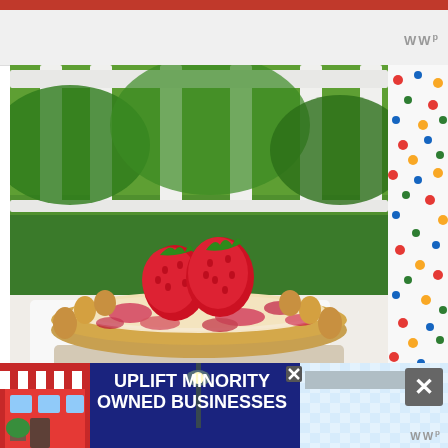[Figure (photo): A strawberry custard pie with a fluted golden crust, topped with two fresh strawberries, sitting on a polka-dot tablecloth on an outdoor porch with white railings and green trees in the background.]
[Figure (photo): Advertisement banner: 'UPLIFT MINORITY OWNED BUSINESSES' in white bold text on dark blue background, with illustrated storefronts on either side and a close button.]